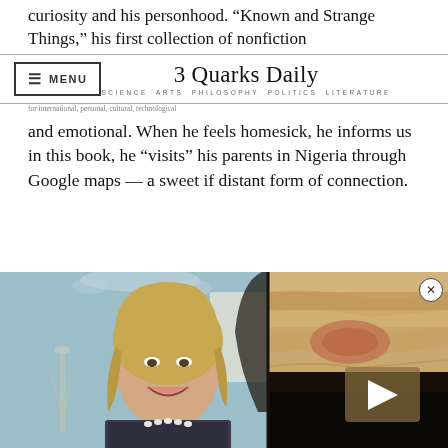curiosity and his personhood. “Known and Strange Things,” his first collection of nonfiction
3 Quarks Daily — SCIENCE ARTS PHILOSOPHY POLITICS LITERATURE
for international, personal, cultural, technological and emotional. When he feels homesick, he informs us in this book, he “visits” his parents in Nigeria through Google maps — a sweet if distant form of connection.
[Figure (photo): A composite image showing a woman with blonde hair smiling on the left (light blue background with chandelier), overlapping with a planet/space image and a video play button on the right side.]